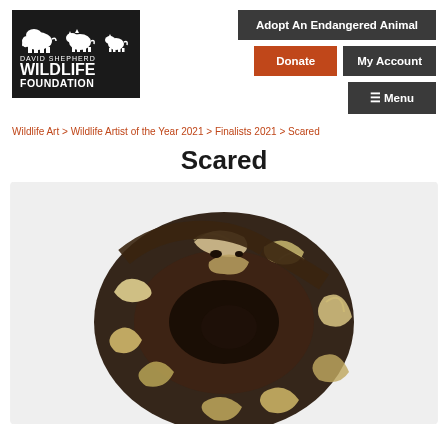[Figure (logo): David Shepherd Wildlife Foundation logo with black background, animal silhouettes, and text]
Adopt An Endangered Animal | Donate | My Account | Menu
Wildlife Art > Wildlife Artist of the Year 2021 > Finalists 2021 > Scared
Scared
[Figure (photo): Photograph of a ball python coiled into a tight ball, showing dark brown/black and cream/gold patterned scales, on a white background]